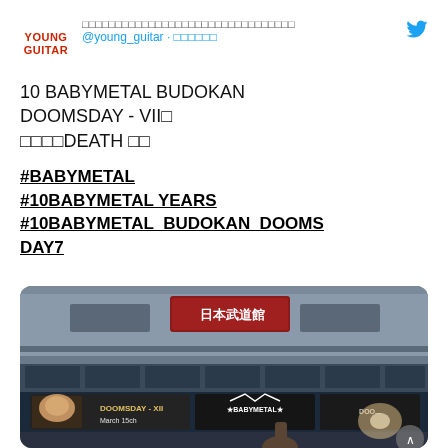YOUNG GUITAR @young_guitar · [Japanese text]
10 BABYMETAL BUDOKAN DOOMSDAY - VII□ □□□□DEATH □□
#BABYMETAL #10BABYMETAL YEARS #10BABYMETAL_BUDOKAN_DOOMSDAY7
[Figure (photo): Photo of Budokan venue interior showing signage for DOOMSDAY - VII March 15th and BABYMETAL logo displayed on electronic boards above the entrance area.]